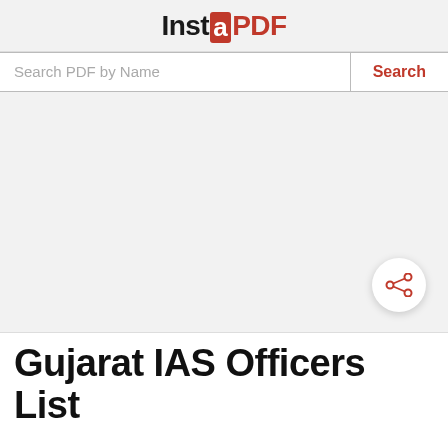InstaPDF
Search PDF by Name
[Figure (screenshot): Gray empty content area with a circular share button in the bottom right corner]
Gujarat IAS Officers List